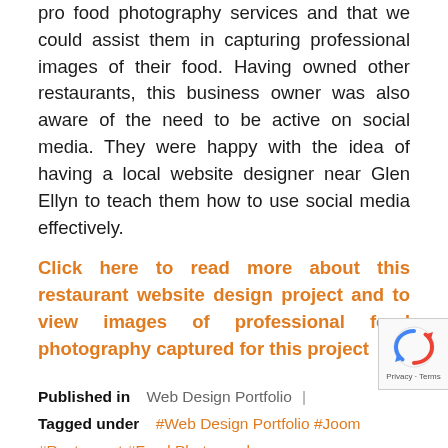pro food photography services and that we could assist them in capturing professional images of their food. Having owned other restaurants, this business owner was also aware of the need to be active on social media. They were happy with the idea of having a local website designer near Glen Ellyn to teach them how to use social media effectively.
Click here to read more about this restaurant website design project and to view images of professional food photography captured for this project
Published in  Web Design Portfolio  |  Tagged under  #Web Design Portfolio  #Joomla  #Restaurant  #Food Photography
Read more